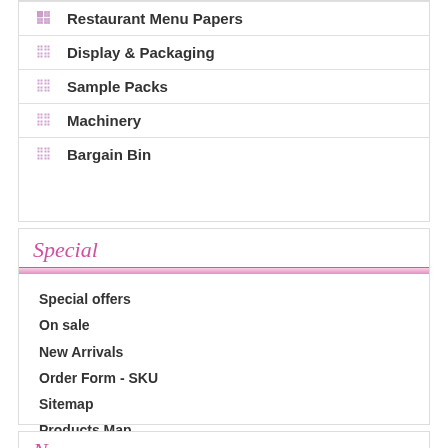Restaurant Menu Papers
Display & Packaging
Sample Packs
Machinery
Bargain Bin
Special
Special offers
On sale
New Arrivals
Order Form - SKU
Sitemap
Products Map
News